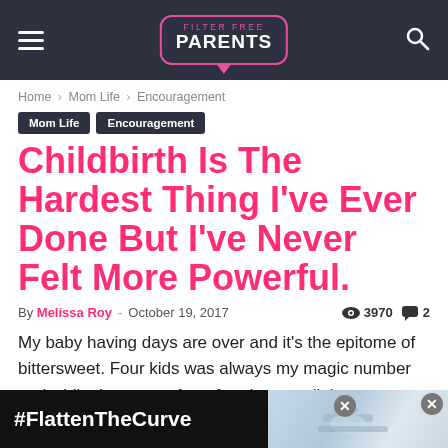Filter Free Parents
Home › Mom Life › Encouragement
Mom Life
Encouragement
Childbirth Is The Hardest Thing I've Ever Done But I've Never Felt More Powerful.
By Melissa Roy - October 19, 2017   3970   2
My baby having days are over and it's the epitome of bittersweet. Four kids was always my magic number and while the news of our fourth was a little unexpected, my heart was filled with joy and my head with equal amounts of terror. My husband and I both know that pregnancy we...
[Figure (screenshot): Advertisement banner at the bottom with #FlattenTheCurve hashtag and handwashing image]